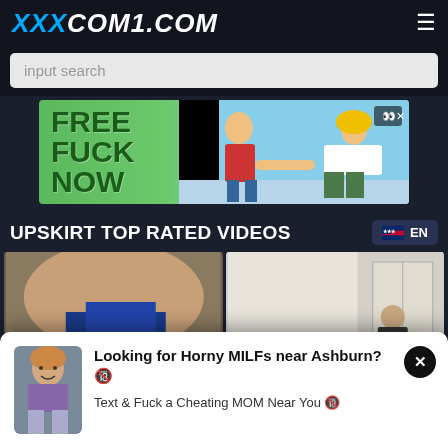XXXCOM1.COM
input search
[Figure (illustration): Advertisement banner with green background reading FREE FUCK NOW with cartoon figures]
UPSKIRT TOP RATED VIDEOS
[Figure (photo): Two video thumbnails showing upskirt video content]
Looking for Horny MILFs near Ashburn? 🔞
Text & Fuck a Cheating MOM Near You 🔞